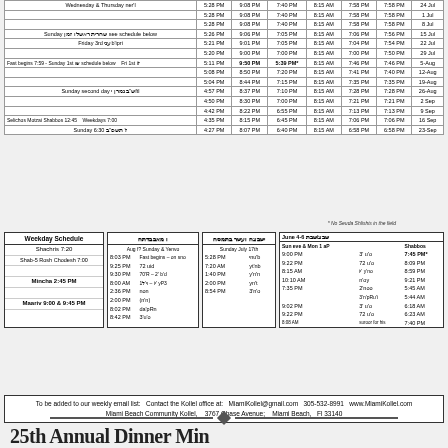|  |  |  |  |  |  |  |
| --- | --- | --- | --- | --- | --- | --- |
| Wednesday & Thursday ner'l | 5:28 PM | 9:08 PM | 7:40 PM | 8:15 AM | 7:58 PM | 7:58 PM | 24 Jul |
|  | 5:28 PM | 9:08 PM | 7:40 PM | 8:15 AM | 7:58 PM | 7:58 PM | 1 Jul |
|  | 5:28 PM | 9:08 PM | 7:40 PM | 8:15 AM | 7:58 PM | 7:58 PM | 8 Jul |
| Sunday שחרית הוקדושsee schedule below | 5:26 PM | 9:06 PM | 7:05 PM | 8:15 AM | 7:06 PM | 7:56 PM | 15 Jul |
| Friday 3rd wim'ipri | 5:21 PM | 9:01 PM | 7:05 PM | 8:15 AM | 7:04 PM | 7:54 PM | 22 Jul |
|  | 5:20 PM | 9:00 PM | 7:00 PM | 8:15 AM | 7:00 PM | 7:50 PM | 29 Jul |
| Fast begins 7:59 - Sunday 1st שו schedule below  Fri 1st ז'ו | 5:11 PM | 9:50 PM | 5:39 PM* | 8:15 AM | 7:46 PM | 7:46 PM | 5-Aug |
|  | 5:08 PM | 8:50 PM | 7:20 PM | 8:15 AM | 7:41 PM | 7:40 PM | 12-Aug |
|  | 5:04 PM | 8:44 PM | 7:15 PM | 8:15 AM | 7:35 PM | 7:35 PM | 19-Aug |
| Sunday second day ש"ב גמרn raft | 4:57 PM | 8:37 PM | 7:10 PM | 8:15 AM | 7:28 PM | 7:28 PM | 26-Aug |
|  | 4:50 PM | 8:30 PM | 7:00 PM | 8:15 AM | 7:21 PM | 7:21 PM | 2 Sep |
|  | 4:42 PM | 8:22 PM | 6:55 PM | 8:15 AM | 7:13 PM | 7:13 PM | 9 Sep |
| Selichos Motzai Shabbos 12:45   Weekdays 7:00 | 4:35 PM | 8:15 PM | 6:45 PM | 8:15 AM | 7:06 PM | 7:06 PM | 16 Sep |
| Sunday 6:30 ז' תשפ"ב | 4:27 PM | 8:07 PM | 6:40 PM | 8:15 AM | 6:58 PM | 6:58 PM | 23-Sep |
| Weekday Schedule |
| --- |
| Shachris 7:20 |
| Shab-5 Rosh Chodesh 7:00 |
|  |
| Mincha 2:45 PM |
|  |
| Maariv 9:00 & 9:45 PM |
| ו מאב בדתה |
| --- |
| Aug f? Sunday & Yenvo |  |
| 8:03 PM | Fast begins – on sno |
| 9:25 PM | 72 uid |
| 9:30 PM | 70'R – 2' b'd |
| 8:00 AM | וי'ל1 – iי' yP3 |
| 2:36 PM | non |
| 2:00 PM | (n'n) |
| 8:02 PM | da'pRn |
| 8:42 PM | 3'u'o |
| ישבצה ועשר בתמסח |
| --- |
| Sunday July 17th |  |
| 5:28 PM | יnu'b |
| 7:20 AM | yt'nb |
| 1:40 PM | y'n'n |
| 2:00 PM | yn't |
| 8:54 PM | 3'n'o |
| June 4-6 שבצ/שבת | Sun eve & Mon 1 aP | Shabbos |
| --- | --- | --- |
| 9:00 PM | 3' u'o | 7:45 PM* |
| 9:22 PM | 72 u'o | 8:09 PM |
| 8:15 AM | iי' y'no | 8:59 PM |
| 10:10 AM | n'oy | 9:21 PM |
| 7:35 PM | 2'noo | 5:45 AM |
|  | 3'n'pRu'i | 5:44 AM |
| 9:02 PM | 3' u'o | 6:18 AM |
| 9:22 PM | 72 u'o | 6:23 AM |
| 8:08 AM | suroor for his | 7:40 PM |
* No Seuda Shlishis in the field
To be added to our weekly email list: Contact the Kollel office at: MiamiKollel@gmail.com  305-532-8991  www.MiamiKollel.com
Miami Beach Community Kollel,  3767 Chase Avenue;  Miami Beach, Fl 33140